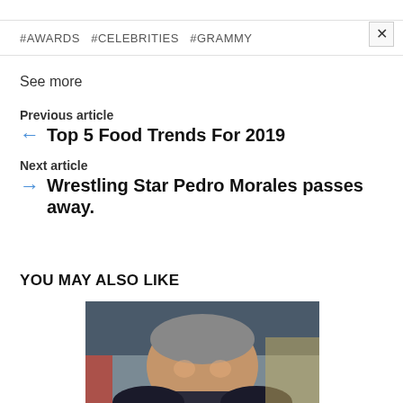#AWARDS  #CELEBRITIES  #GRAMMY
See more
Previous article
Top 5 Food Trends For 2019
Next article
Wrestling Star Pedro Morales passes away.
YOU MAY ALSO LIKE
[Figure (photo): Photo of a man with grey hair outdoors, partial view]